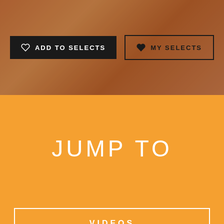[Figure (screenshot): Top banner with brownish-orange blurred background showing a person, with two buttons: ADD TO SELECTS and MY SELECTS]
ADD TO SELECTS
MY SELECTS
JUMP TO
REEL
VIDEOS